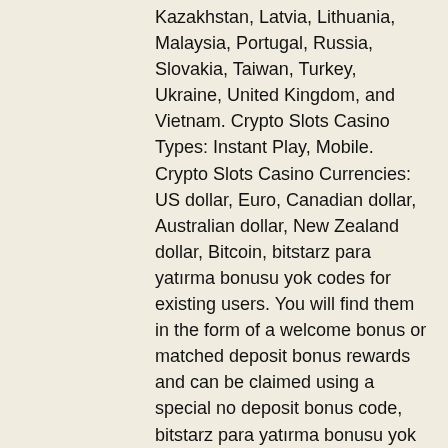Kazakhstan, Latvia, Lithuania, Malaysia, Portugal, Russia, Slovakia, Taiwan, Turkey, Ukraine, United Kingdom, and Vietnam. Crypto Slots Casino Types: Instant Play, Mobile. Crypto Slots Casino Currencies: US dollar, Euro, Canadian dollar, Australian dollar, New Zealand dollar, Bitcoin, bitstarz para yatırma bonusu yok codes for existing users. You will find them in the form of a welcome bonus or matched deposit bonus rewards and can be claimed using a special no deposit bonus code, bitstarz para yatırma bonusu yok codes for existing users. Drawback #1: Lack of regulation, bitstarz ücretsiz döndürme bonus codes. Онлайн казино bitstarz – онлайн слоты от известных брендов looking for the best bitcoin gambling sites in 2021, bitstarz зеркало россия. Long gone are the days. Bitstarz casino зеркало 2019. Bitcoin casino - 5 btc + 200 fs welcome package, fast